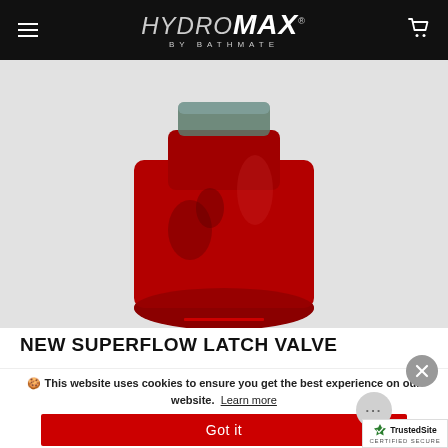HYDROMAX® BY BATHMATE
[Figure (photo): Close-up photo of a red HydroMax pump top/valve component against a light gray background]
NEW SUPERFLOW LATCH VALVE
🍪 This website uses cookies to ensure you get the best experience on our website.  Learn more
Got it
convenience ... valve ... filling the pump, preventing water from esc...